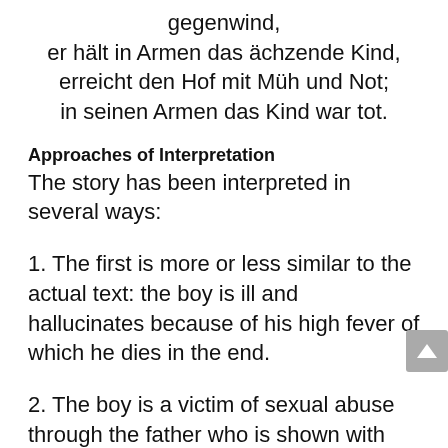gegenwind,
er hält in Armen das ächzende Kind,
erreicht den Hof mit Müh und Not;
in seinen Armen das Kind war tot.
Approaches of Interpretation
The story has been interpreted in several ways:
1. The first is more or less similar to the actual text: the boy is ill and hallucinates because of his high fever of which he dies in the end.
2. The boy is a victim of sexual abuse through the father who is shown with two faces: the abusive father (the